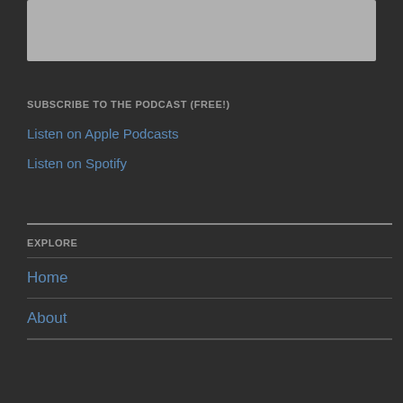[Figure (photo): Gray placeholder image at top of page]
SUBSCRIBE TO THE PODCAST (FREE!)
Listen on Apple Podcasts
Listen on Spotify
EXPLORE
Home
About